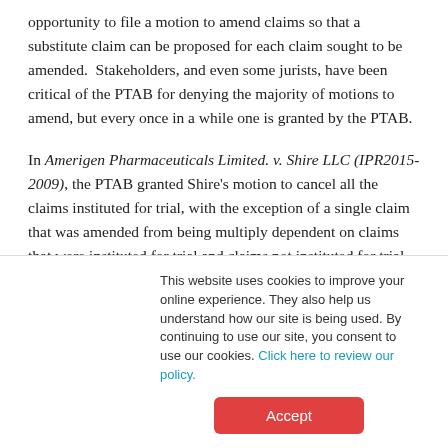opportunity to file a motion to amend claims so that a substitute claim can be proposed for each claim sought to be amended.  Stakeholders, and even some jurists, have been critical of the PTAB for denying the majority of motions to amend, but every once in a while one is granted by the PTAB.
In Amerigen Pharmaceuticals Limited. v. Shire LLC (IPR2015-2009), the PTAB granted Shire’s motion to cancel all the claims instituted for trial, with the exception of a single claim that was amended from being multiply dependent on claims that were instituted for trial and claims not instituted for trial
This website uses cookies to improve your online experience. They also help us understand how our site is being used. By continuing to use our site, you consent to use our cookies. Click here to review our policy.
Accept